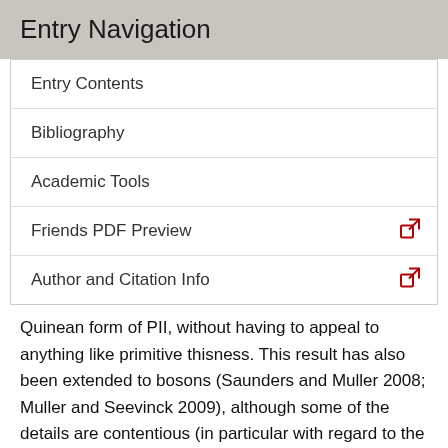Entry Navigation
Entry Contents
Bibliography
Academic Tools
Friends PDF Preview
Author and Citation Info
Quinean form of PII, without having to appeal to anything like primitive thisness. This result has also been extended to bosons (Saunders and Muller 2008; Muller and Seevinck 2009), although some of the details are contentious (in particular with regard to the interpretation of some of the mathematical features that are appealed to). Leaving aside these technical concerns, there is the worry that the appeal to irreflexive relations in order to ground the individuality of the objects which bear such relations involves a circularity: in order to appeal to such relations, one has had to already individuate the particles